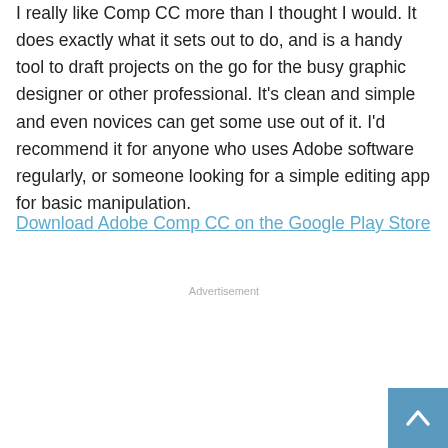I really like Comp CC more than I thought I would. It does exactly what it sets out to do, and is a handy tool to draft projects on the go for the busy graphic designer or other professional. It's clean and simple and even novices can get some use out of it. I'd recommend it for anyone who uses Adobe software regularly, or someone looking for a simple editing app for basic manipulation.
Download Adobe Comp CC on the Google Play Store
Advertisement